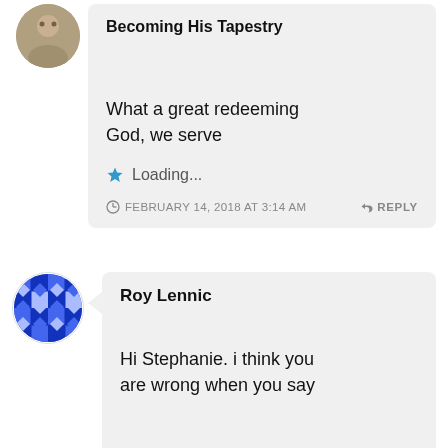Becoming His Tapestry
What a great redeeming God, we serve
Loading...
FEBRUARY 14, 2018 AT 3:14 AM
REPLY
Roy Lennic
Hi Stephanie. i think you are wrong when you say